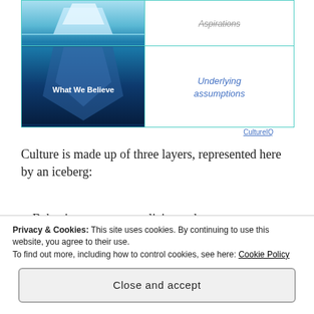[Figure (table-as-image): Iceberg diagram table with two rows. Top row: iceberg image cell (above water portion in light blue) and text cell with 'Aspirations' (struck through). Bottom row: iceberg image cell labeled 'What We Believe' (below water, dark blue) and text cell with 'Underlying assumptions' in blue italic. Source credit: CultureIQ.]
CultureIQ
Culture is made up of three layers, represented here by an iceberg:
Behaviors, systems, policies and processes surrounding the way things are done
Ideals, goals, values, and aspirations set by
Privacy & Cookies: This site uses cookies. By continuing to use this website, you agree to their use.
To find out more, including how to control cookies, see here: Cookie Policy
Close and accept
Culture can be subdivided into three general